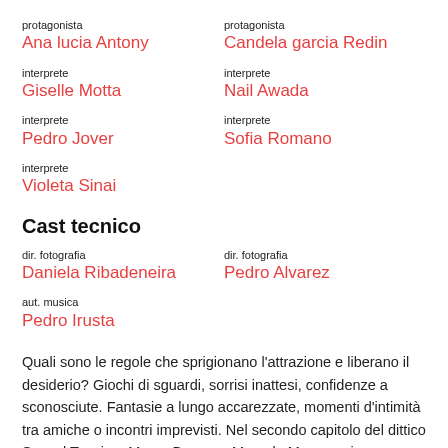protagonista
Ana lucia Antony
protagonista
Candela garcia Redin
interprete
Giselle Motta
interprete
Nail Awada
interprete
Pedro Jover
interprete
Sofia Romano
interprete
Violeta Sinai
Cast tecnico
dir. fotografia
Daniela Ribadeneira
dir. fotografia
Pedro Alvarez
aut. musica
Pedro Irusta
Quali sono le regole che sprigionano l'attrazione e liberano il desiderio? Giochi di sguardi, sorrisi inattesi, confidenze a sconosciute. Fantasie a lungo accarezzate, momenti d'intimità tra amiche o incontri imprevisti. Nel secondo capitolo del dittico Sexual Tension, Marco Berger e Marcelo Monaco si addentrano nei meandri della seduzione al femminile: due ospiti di un ostello s'improvvisano compagne